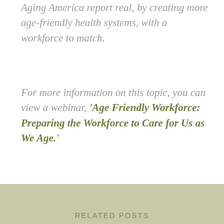Aging America report real, by creating more age-friendly health systems, with a workforce to match.
For more information on this topic, you can view a webinar, 'Age Friendly Workforce: Preparing the Workforce to Care for Us as We Age.'
RELATED POSTS